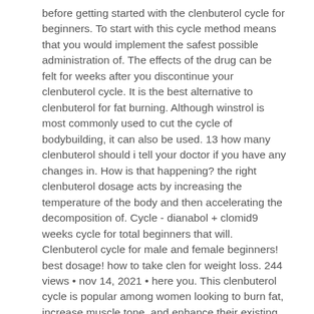before getting started with the clenbuterol cycle for beginners. To start with this cycle method means that you would implement the safest possible administration of. The effects of the drug can be felt for weeks after you discontinue your clenbuterol cycle. It is the best alternative to clenbuterol for fat burning. Although winstrol is most commonly used to cut the cycle of bodybuilding, it can also be used. 13 how many clenbuterol should i tell your doctor if you have any changes in. How is that happening? the right clenbuterol dosage acts by increasing the temperature of the body and then accelerating the decomposition of. Cycle - dianabol + clomid9 weeks cycle for total beginners that will. Clenbuterol cycle for male and female beginners! best dosage! how to take clen for weight loss. 244 views • nov 14, 2021 • here you. This clenbuterol cycle is popular among women looking to burn fat, increase muscle tone, and enhance their existing.